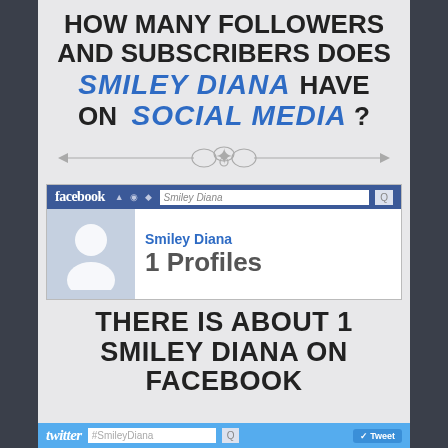HOW MANY FOLLOWERS AND SUBSCRIBERS DOES SMILEY DIANA HAVE ON SOCIAL MEDIA?
[Figure (infographic): Decorative ornamental divider with arrows on both sides and a swirl flourish in the center]
[Figure (screenshot): Facebook search bar mockup showing 'Smiley Diana' search, with a profile card showing a silhouette avatar, name 'Smiley Diana', and '1 Profiles']
THERE IS ABOUT 1 SMILEY DIANA ON FACEBOOK
[Figure (screenshot): Twitter search bar mockup showing '#SmileyDiana' search with a Tweet button]